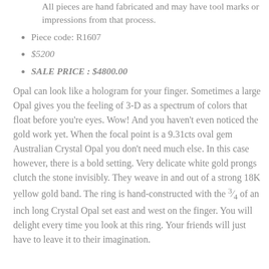All pieces are hand fabricated and may have tool marks or impressions from that process.
Piece code: R1607
$5200
SALE PRICE : $4800.00
Opal can look like a hologram for your finger. Sometimes a large Opal gives you the feeling of 3-D as a spectrum of colors that float before you're eyes. Wow! And you haven't even noticed the gold work yet. When the focal point is a 9.31cts oval gem Australian Crystal Opal you don't need much else. In this case however, there is a bold setting. Very delicate white gold prongs clutch the stone invisibly. They weave in and out of a strong 18K yellow gold band. The ring is hand-constructed with the ¾ of an inch long Crystal Opal set east and west on the finger. You will delight every time you look at this ring. Your friends will just have to leave it to their imagination.